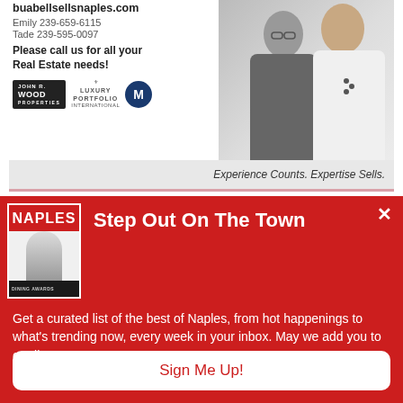[Figure (photo): Real estate advertisement showing two women agents with contact info, John R Wood Properties logos, and tagline 'Experience Counts. Expertise Sells.']
buabellsellsnaples.com
Emily 239-659-6115
Tade 239-595-0097
Please call us for all your Real Estate needs!
Experience Counts. Expertise Sells.
Step Out On The Town
Get a curated list of the best of Naples, from hot happenings to what's trending now, every week in your inbox. May we add you to our list?
Sign Me Up!